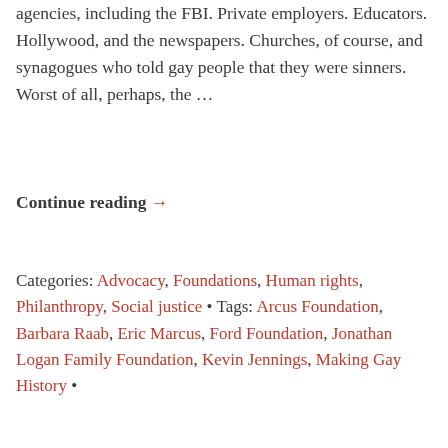agencies, including the FBI. Private employers. Educators. Hollywood, and the newspapers. Churches, of course, and synagogues who told gay people that they were sinners. Worst of all, perhaps, the …
Continue reading →
Categories: Advocacy, Foundations, Human rights, Philanthropy, Social justice • Tags: Arcus Foundation, Barbara Raab, Eric Marcus, Ford Foundation, Jonathan Logan Family Foundation, Kevin Jennings, Making Gay History •